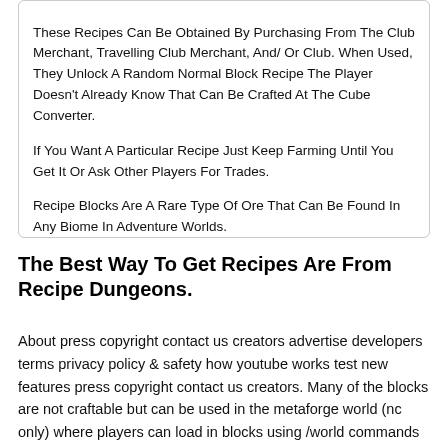These Recipes Can Be Obtained By Purchasing From The Club Merchant, Travelling Club Merchant, And/ Or Club. When Used, They Unlock A Random Normal Block Recipe The Player Doesn't Already Know That Can Be Crafted At The Cube Converter. If You Want A Particular Recipe Just Keep Farming Until You Get It Or Ask Other Players For Trades. Recipe Blocks Are A Rare Type Of Ore That Can Be Found In Any Biome In Adventure Worlds.
The Best Way To Get Recipes Are From Recipe Dungeons.
About press copyright contact us creators advertise developers terms privacy policy & safety how youtube works test new features press copyright contact us creators. Many of the blocks are not craftable but can be used in the metaforge world (nc only) where players can load in blocks using /world commands or players can drag